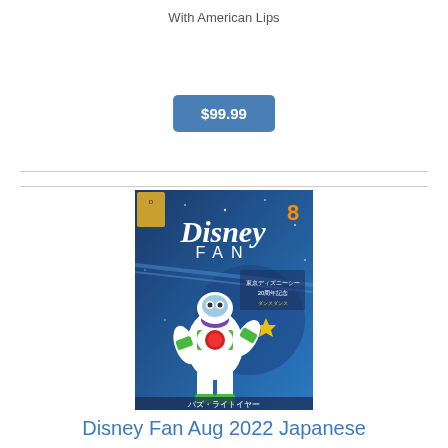With American Lips
$99.99
[Figure (photo): Disney Fan August 2022 Japanese magazine cover featuring Buzz Lightyear from Toy Story on a blue space-themed background with Japanese text and Disney Fan logo]
Disney Fan Aug 2022 Japanese